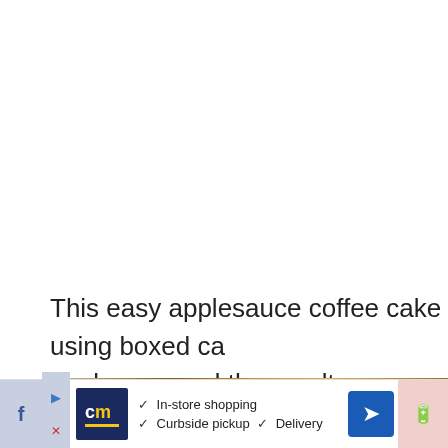This easy applesauce coffee cake using boxed ca the bases, and the result was a home-run. It's lig the applesauce with a subtle apple flavor.
[Figure (photo): Close-up photo of coffee cake with almonds and crumbly topping]
In-store shopping  Curbside pickup  Delivery